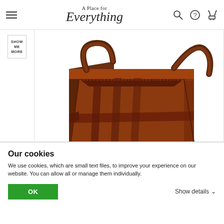A Place for Everything — navigation bar with hamburger menu, logo, search, help, and cart icons
[Figure (photo): Brown leather storage basket/box with handles and stitched paneling, viewed from a three-quarter front angle on white background]
Our cookies
We use cookies, which are small text files, to improve your experience on our website. You can allow all or manage them individually.
OK | Show details